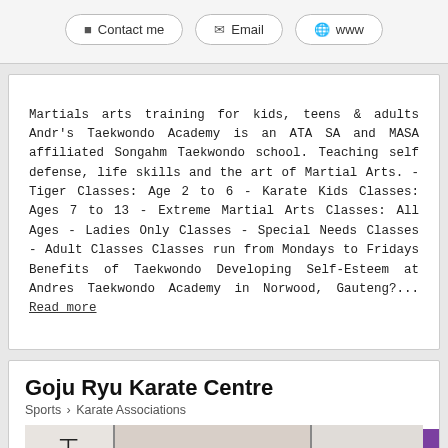Contact me | Email | www
Martials arts training for kids, teens & adults Andr's Taekwondo Academy is an ATA SA and MASA affiliated Songahm Taekwondo school. Teaching self defense, life skills and the art of Martial Arts. - Tiger Classes: Age 2 to 6 - Karate Kids Classes: Ages 7 to 13 - Extreme Martial Arts Classes: All Ages - Ladies Only Classes - Special Needs Classes - Adult Classes Classes run from Mondays to Fridays Benefits of Taekwondo Developing Self-Esteem at Andres Taekwondo Academy in Norwood, Gauteng?... Read more
Goju Ryu Karate Centre
Sports > Karate Associations
Featured Listing - Bronze
[Figure (photo): Photo of Goju Ryu Karate Centre signage with kanji characters and contact information showing Contact: Che Jagger, (011) 672-6860 • 083 603-1161, Home of the JAGUAR's]